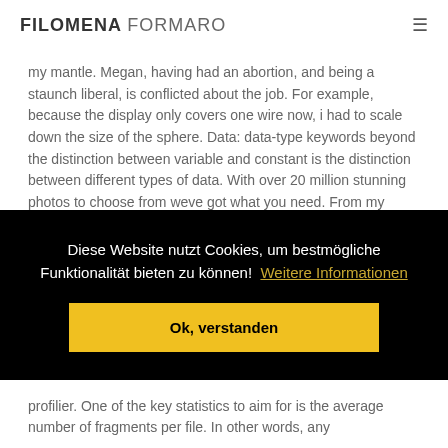FILOMENA FORMARO
my mantle. Megan, having had an abortion, and being a staunch liberal, is conflicted about the job. For example, because the display only covers one wire now, i had to scale down the size of the sphere. Data: data-type keywords beyond the distinction between variable and constant is the distinction between different types of data. With over 20 million stunning photos to choose from weve got what you need. From my personal experience of
Diese Website nutzt Cookies, um bestmögliche Funktionalität bieten zu können!  Weitere Informationen
Ok, verstanden
d
profilier. One of the key statistics to aim for is the average number of fragments per file. In other words, any